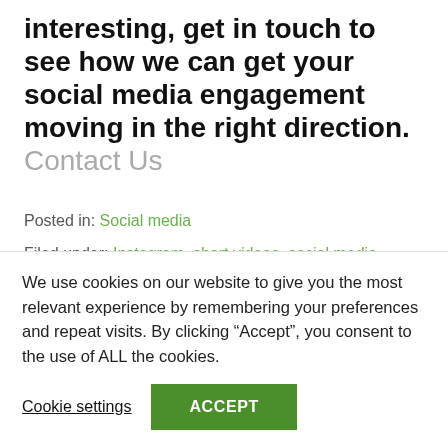interesting, get in touch to see how we can get your social media engagement moving in the right direction. Contact Us
Posted in: Social media
Filed under: Instagram, short videos, social media, social network, TikTok, Videos
← Are Virtual Influencers On The ... How to boost engagement at →
We use cookies on our website to give you the most relevant experience by remembering your preferences and repeat visits. By clicking "Accept", you consent to the use of ALL the cookies.
Cookie settings    ACCEPT